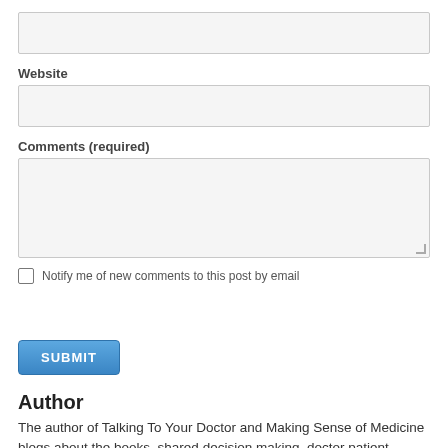[Figure (screenshot): Empty text input field (single line) at the top of a web form]
Website
[Figure (screenshot): Website input field (single line text box)]
Comments (required)
[Figure (screenshot): Comments textarea (multi-line text input with resize handle)]
Notify me of new comments to this post by email
[Figure (screenshot): SUBMIT button (blue rounded rectangle)]
Author
The author of Talking To Your Doctor and Making Sense of Medicine blogs about the books, shared decision making, doctor patient...